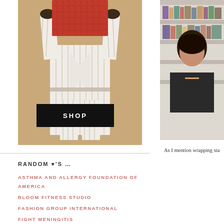[Figure (photo): Person in white striped suit holding a red patterned Goyard-style box/bag over their face, standing against a tan/beige background]
SHOP
[Figure (photo): Partial right-side image showing a person, cropped, with shelving or books in the background]
RANDOM ♥'S …
ASTHMA AND ALLERGY FOUNDATION OF AMERICA
BLOOM FITNESS STUDIO
FASHION GROUP INTERNATIONAL
FIGHT MENINGITIS
KIDS WITH FOOD ALLERGIES
LES MILLS BODY PUMP
As I mention wrapping sta